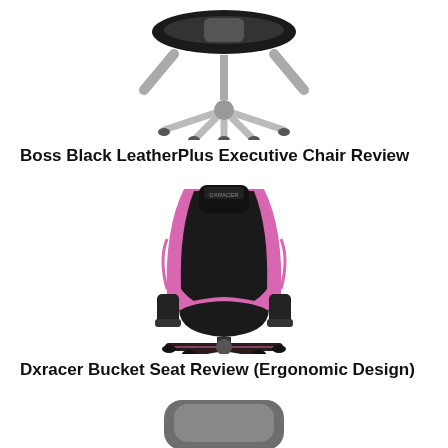[Figure (photo): Top portion of a black and silver executive office chair, cropped at top of page]
Boss Black LeatherPlus Executive Chair Review
[Figure (photo): Front view of a DXRacer gaming chair in black and pink with racing bucket seat design, armrests, and star base]
Dxracer Bucket Seat Review (Ergonomic Design)
[Figure (photo): Top portion of a gray ergonomic seat or cushion, partially visible at bottom of page]